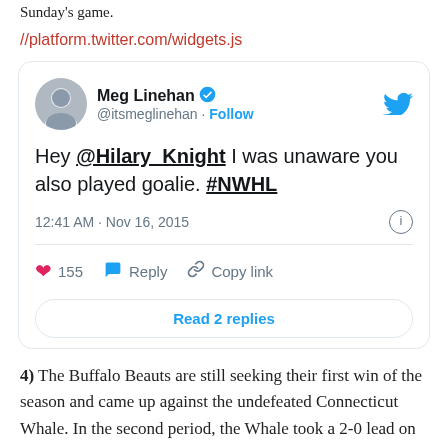Sunday's game.
//platform.twitter.com/widgets.js
[Figure (screenshot): Embedded tweet from Meg Linehan (@itsmeglinehan) verified account, reading: Hey @Hilary_Knight I was unaware you also played goalie. #NWHL. Timestamp: 12:41 AM · Nov 16, 2015. 155 likes. Actions: Reply, Copy link. Read 2 replies button.]
4) The Buffalo Beauts are still seeking their first win of the season and came up against the undefeated Connecticut Whale. In the second period, the Whale took a 2-0 lead on goals from Kelly Babstock (short-